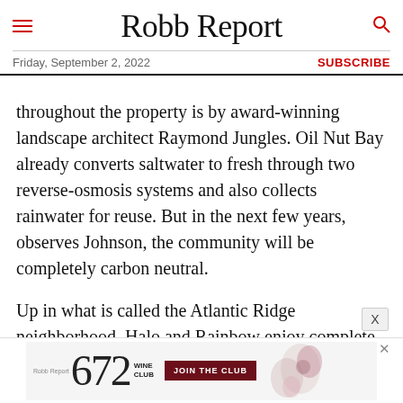Robb Report
Friday, September 2, 2022  SUBSCRIBE
throughout the property is by award-winning landscape architect Raymond Jungles. Oil Nut Bay already converts saltwater to fresh through two reverse-osmosis systems and also collects rainwater for reuse. But in the next few years, observes Johnson, the community will be completely carbon neutral.
Up in what is called the Atlantic Ridge neighborhood, Halo and Rainbow enjoy complete isolation, yet are just minutes away by electric cart ride to all the resort's amenities.
[Figure (advertisement): Advertisement banner for Robb Report 672 Wine Club with 'JOIN THE CLUB' call-to-action button on dark red background, and decorative spiral/wine imagery on the right side.]